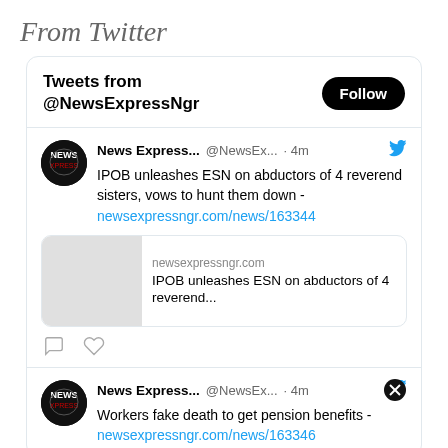From Twitter
Tweets from @NewsExpressNgr
News Express... @NewsEx... · 4m
IPOB unleashes ESN on abductors of 4 reverend sisters, vows to hunt them down - newsexpressngr.com/news/163344
[Figure (screenshot): Twitter embedded card for newsexpressngr.com: IPOB unleashes ESN on abductors of 4 reverend...]
News Express... @NewsEx... · 4m
Workers fake death to get pension benefits - newsexpressngr.com/news/163346